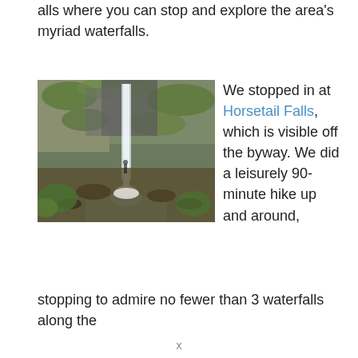alls where you can stop and explore the area's myriad waterfalls.
[Figure (photo): A waterfall cascading down a mossy rocky cliff face into a pool below, surrounded by green vegetation and large rocks.]
We stopped in at Horsetail Falls, which is visible off the byway. We did a leisurely 90-minute hike up and around, stopping to admire no fewer than 3 waterfalls along the
x